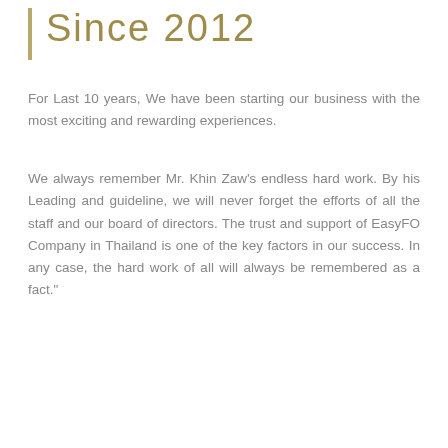Since 2012
For Last 10 years, We have been starting our business with the most exciting and rewarding experiences.
We always remember Mr. Khin Zaw's endless hard work. By his Leading and guideline, we will never forget the efforts of all the staff and our board of directors. The trust and support of EasyFO Company in Thailand is one of the key factors in our success. In any case, the hard work of all will always be remembered as a fact."